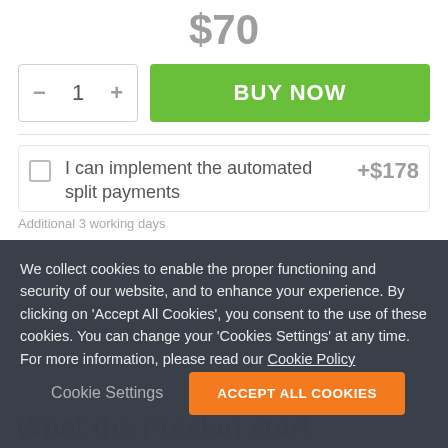$70
BUY NOW
I can implement the automated split payments +$178
We collect cookies to enable the proper functioning and security of our website, and to enhance your experience. By clicking on 'Accept All Cookies', you consent to the use of these cookies. You can change your 'Cookies Settings' at any time. For more information, please read our Cookie Policy
Cookie Settings
ACCEPT ALL COOKIES
What the Freelan... start